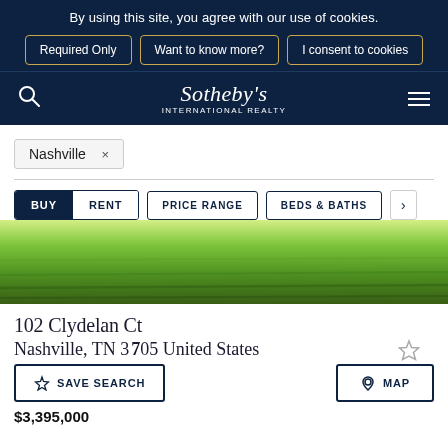By using this site, you agree with our use of cookies.
Required Only | Want to know more? | I consent to cookies
[Figure (logo): Sotheby's International Realty logo with search icon and hamburger menu on dark navy background]
Nashville  ×
BUY  RENT  |  PRICE RANGE  |  BEDS & BATHS  |  >
[Figure (photo): Green grass lawn photo]
102 Clydelan Ct
Nashville, TN 37205 United States
SAVE SEARCH  |  MAP
$3,395,000